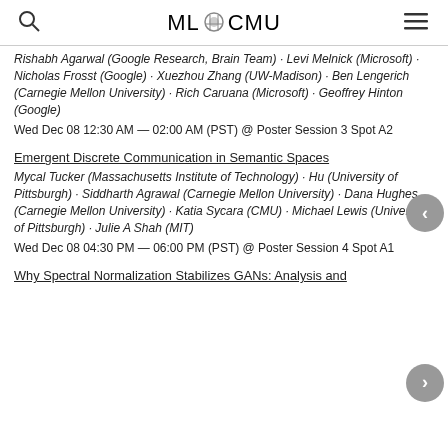ML@CMU
Rishabh Agarwal (Google Research, Brain Team) · Levi Melnick (Microsoft) · Nicholas Frosst (Google) · Xuezhou Zhang (UW-Madison) · Ben Lengerich (Carnegie Mellon University) · Rich Caruana (Microsoft) · Geoffrey Hinton (Google)
Wed Dec 08 12:30 AM — 02:00 AM (PST) @ Poster Session 3 Spot A2
Emergent Discrete Communication in Semantic Spaces
Mycal Tucker (Massachusetts Institute of Technology) · Hu (University of Pittsburgh) · Siddharth Agrawal (Carnegie Mellon University) · Dana Hughes (Carnegie Mellon University) · Katia Sycara (CMU) · Michael Lewis (University of Pittsburgh) · Julie A Shah (MIT)
Wed Dec 08 04:30 PM — 06:00 PM (PST) @ Poster Session 4 Spot A1
Why Spectral Normalization Stabilizes GANs: Analysis and